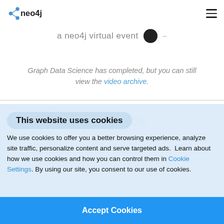neo4j [logo] [hamburger menu]
a neo4j virtual event •
Graph Data Science has completed, but you can still view the video archive.
This website uses cookies
We use cookies to offer you a better browsing experience, analyze site traffic, personalize content and serve targeted ads.  Learn about how we use cookies and how you can control them in Cookie Settings. By using our site, you consent to our use of cookies.
Accept Cookies